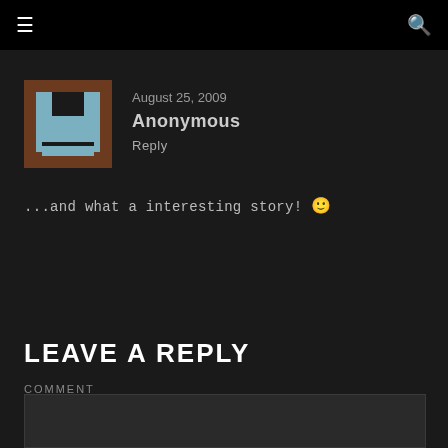≡  🔍
August 25, 2009
Anonymous
Reply
...and what a interesting story! 🙂
LEAVE A REPLY
COMMENT